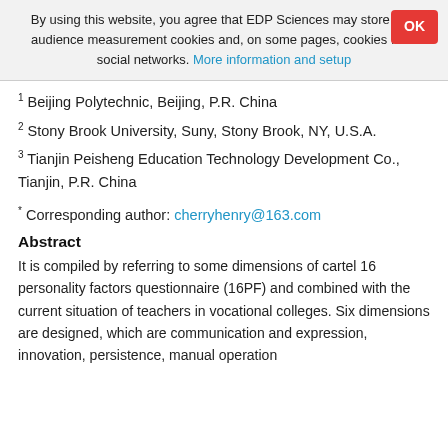By using this website, you agree that EDP Sciences may store web audience measurement cookies and, on some pages, cookies from social networks. More information and setup
1 Beijing Polytechnic, Beijing, P.R. China
2 Stony Brook University, Suny, Stony Brook, NY, U.S.A.
3 Tianjin Peisheng Education Technology Development Co., Tianjin, P.R. China
* Corresponding author: cherryhenry@163.com
Abstract
It is compiled by referring to some dimensions of cartel 16 personality factors questionnaire (16PF) and combined with the current situation of teachers in vocational colleges. Six dimensions are designed, which are communication and expression, innovation, persistence, manual operation